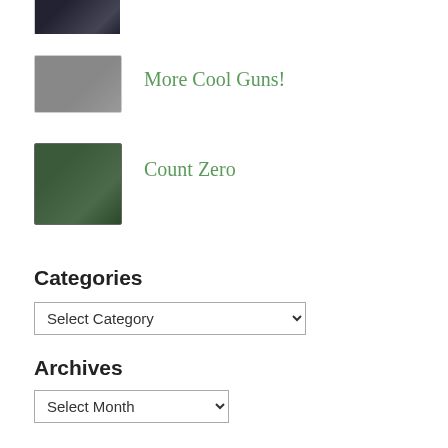[Figure (photo): Small thumbnail image at top (partially visible, dark sci-fi theme)]
[Figure (photo): Small thumbnail of a gun/firearm]
More Cool Guns!
[Figure (photo): Small thumbnail of Count Zero book cover (dark fantasy/sci-fi)]
Count Zero
Categories
Select Category (dropdown)
Archives
Select Month (dropdown)
Follow me on twitter!
@boltonsstache69 @jennybizh @ACTBrigitte